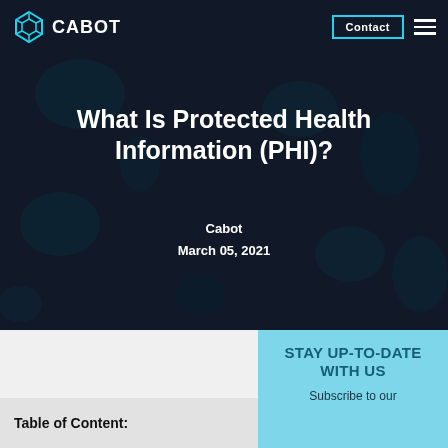CABOT | Contact
What Is Protected Health Information (PHI)?
Cabot
March 05, 2021
Table of Content:
STAY UP-TO-DATE WITH US
Subscribe to our